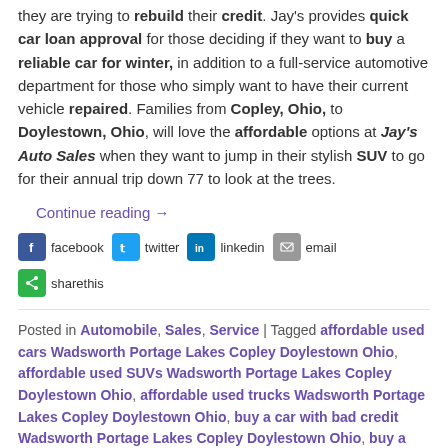they are trying to rebuild their credit. Jay's provides quick car loan approval for those deciding if they want to buy a reliable car for winter, in addition to a full-service automotive department for those who simply want to have their current vehicle repaired. Families from Copley, Ohio, to Doylestown, Ohio, will love the affordable options at Jay's Auto Sales when they want to jump in their stylish SUV to go for their annual trip down 77 to look at the trees.
Continue reading →
facebook twitter linkedin email sharethis
Posted in Automobile, Sales, Service | Tagged affordable used cars Wadsworth Portage Lakes Copley Doylestown Ohio, affordable used SUVs Wadsworth Portage Lakes Copley Doylestown Ohio, affordable used trucks Wadsworth Portage Lakes Copley Doylestown Ohio, buy a car with bad credit Wadsworth Portage Lakes Copley Doylestown Ohio, buy a car with no credit Wadsworth Portage Lakes Copley Doylestown Ohio, Buy Here Pay